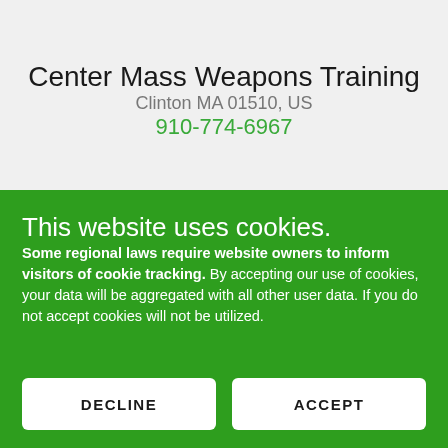Center Mass Weapons Training
Clinton MA 01510, US
910-774-6967
This website uses cookies.
Some regional laws require website owners to inform visitors of cookie tracking. By accepting our use of cookies, your data will be aggregated with all other user data. If you do not accept cookies will not be utilized.
DECLINE
ACCEPT